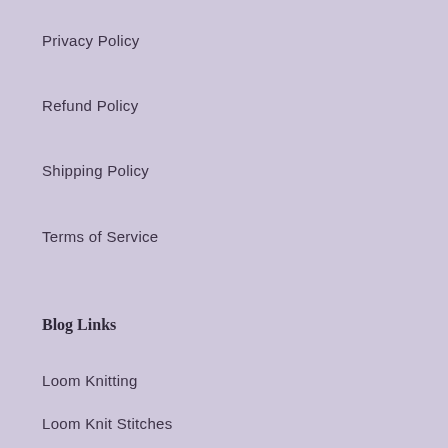Privacy Policy
Refund Policy
Shipping Policy
Terms of Service
Blog Links
Loom Knitting
Loom Knit Stitches